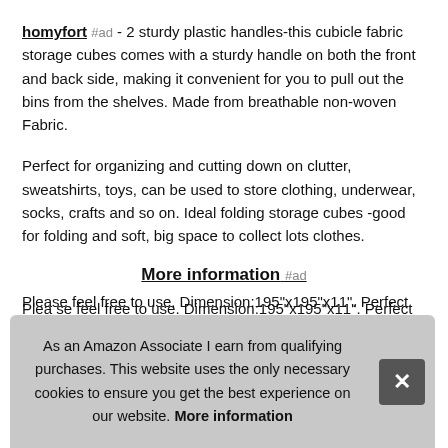homyfort #ad - 2 sturdy plastic handles-this cubicle fabric storage cubes comes with a sturdy handle on both the front and back side, making it convenient for you to pull out the bins from the shelves. Made from breathable non-woven Fabric.
Perfect for organizing and cutting down on clutter, sweatshirts, toys, can be used to store clothing, underwear, socks, crafts and so on. Ideal folding storage cubes -good for folding and soft, big space to collect lots clothes.
More information #ad
Please feel free to use. Dimension:195"x195"x11". Perfect stor... dec... any...
All the fabric we used are environmental. Breathable
As an Amazon Associate I earn from qualifying purchases. This website uses the only necessary cookies to ensure you get the best experience on our website. More information